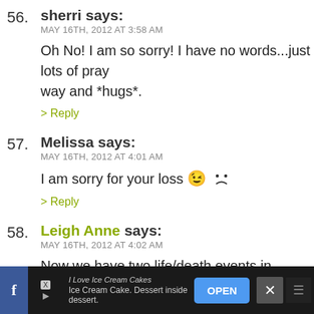56. sherri says: MAY 16TH, 2012 AT 3:58 AM
Oh No! I am so sorry! I have no words...just lots of pray way and *hugs*.
> Reply
57. Melissa says: MAY 16TH, 2012 AT 4:01 AM
I am sorry for your loss ☹
> Reply
58. Leigh Anne says: MAY 16TH, 2012 AT 4:02 AM
Now we have two life/death events in common. We bot born child, and we have both lost a child in pregnancy. I sorry.
You may not feel it yet, but writing it out did help. It ma